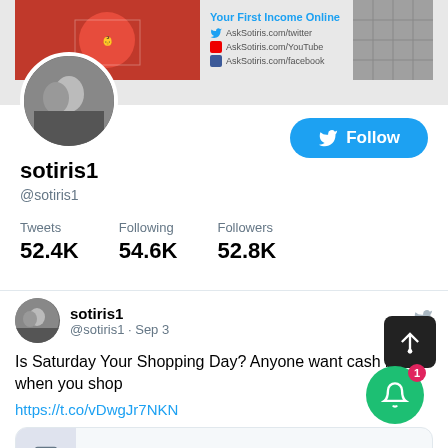[Figure (screenshot): Twitter profile banner with red background image on left, social media links in center, and tile image on right]
[Figure (photo): Circular profile photo of two men]
[Figure (screenshot): Blue Twitter Follow button with bird logo]
sotiris1
@sotiris1
Tweets
52.4K    Following
54.6K    Followers
52.8K
[Figure (screenshot): Tweet by sotiris1 on Sep 3: Is Saturday Your Shopping Day? Anyone want cash back when you shop https://t.co/vDwgJr7NKN with saygoodbye9to5.com link card preview and action buttons]
[Figure (screenshot): Green notification bell button with badge showing 1, and black scroll-up button]